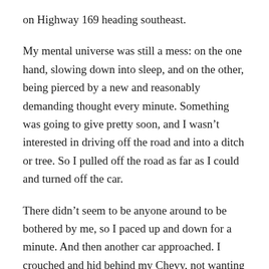on Highway 169 heading southeast.
My mental universe was still a mess: on the one hand, slowing down into sleep, and on the other, being pierced by a new and reasonably demanding thought every minute. Something was going to give pretty soon, and I wasn’t interested in driving off the road and into a ditch or tree. So I pulled off the road as far as I could and turned off the car.
There didn’t seem to be anyone around to be bothered by me, so I paced up and down for a minute. And then another car approached. I crouched and hid behind my Chevy, not wanting any company. Thankfully they continued on, but this wasn’t going to work either. I climbed back into the car and continued south.